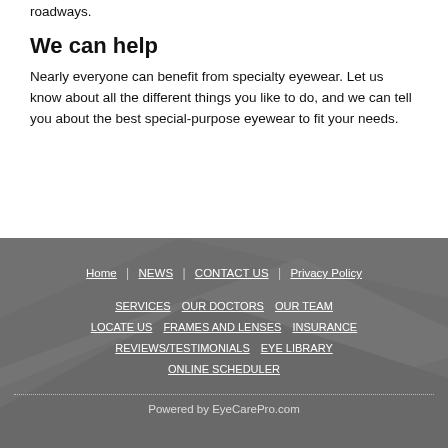roadways.
We can help
Nearly everyone can benefit from specialty eyewear. Let us know about all the different things you like to do, and we can tell you about the best special-purpose eyewear to fit your needs.
Home | NEWS | CONTACT US | Privacy Policy | SERVICES | OUR DOCTORS | OUR TEAM | LOCATE US | FRAMES AND LENSES | INSURANCE | REVIEWS/TESTIMONIALS | EYE LIBRARY | ONLINE SCHEDULER
Powered by EyeCarePro.com